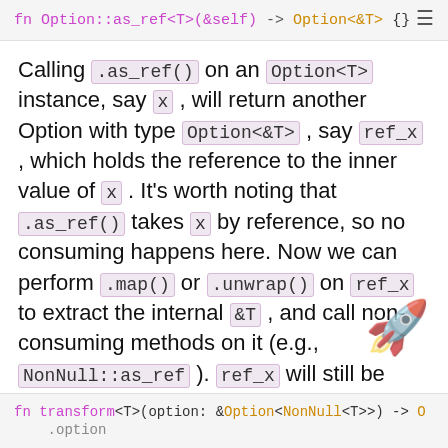fn Option::as_ref<T>(&self) -> Option<&T> {}
Calling .as_ref() on an Option<T> instance, say x , will return another Option with type Option<&T> , say ref_x , which holds the reference to the inner value of x . It's worth noting that .as_ref() takes x by reference, so no consuming happens here. Now we can perform .map() or .unwrap() on ref_x to extract the internal &T , and call non-consuming methods on it (e.g., NonNull::as_ref ). ref_x will still be dropped after that, but it does not matter, since all it have is a reference.
We can correct our code like this:
fn transform<T>(option: &Option<NonNull<T>>) -> Option ...option